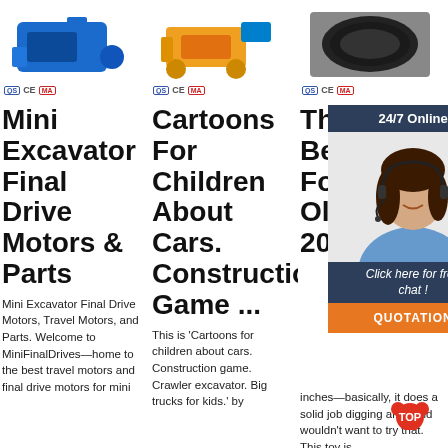[Figure (photo): Blue industrial machine/pump product image with certification badges (QS, CE, MA)]
[Figure (photo): Orange construction machine product image with certification badges (QS, CE, MA)]
[Figure (photo): Black cable/hose product image with certification badges (QS, CE, MA)]
Mini Excavator Final Drive Motors & Parts
Mini Excavator Final Drive Motors, Travel Motors, and Parts. Welcome to MiniFinalDrives—home to the best travel motors and final drive motors for mini
Cartoons For Children About Cars. Construction Game ...
This is 'Cartoons for children about cars. Construction game. Crawler excavator. Big trucks for kids.' by
Th... 17 Be... Fo... Ol... 20...
2020... rota... and inches—basically, it does a solid job digging and a kid wouldn't want to try that. This toy is
[Figure (photo): 24/7 Online chat customer service overlay with woman wearing headset, 'Click here for free chat!' text and QUOTATION button]